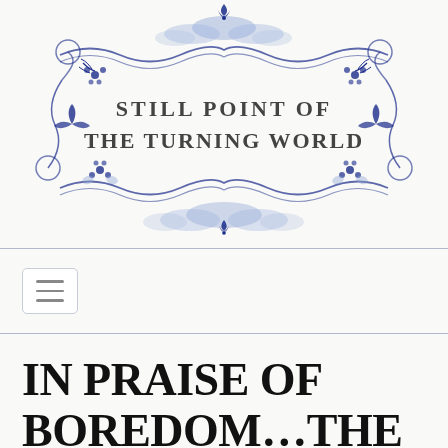[Figure (illustration): Decorative watercolor and ink banner with blue floral and scrollwork border framing the text 'STILL POINT OF THE TURNING WORLD' in dark serif lettering. Features blue watercolor cloud-like swirls at top and bottom center, dark blue leaf and flower motifs at corners and sides, and curling vine/scroll designs.]
[Figure (other): Navigation bar with hamburger menu button (three horizontal lines inside a rounded rectangle border)]
IN PRAISE OF BOREDOM...THE GIFT